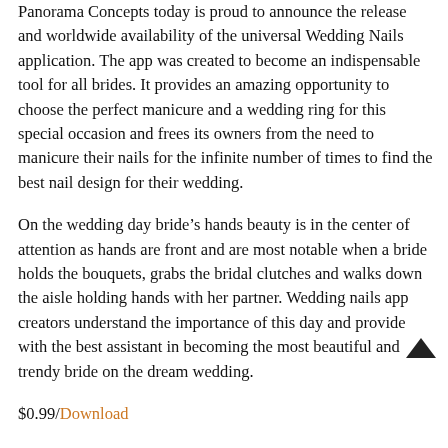Panorama Concepts today is proud to announce the release and worldwide availability of the universal Wedding Nails application. The app was created to become an indispensable tool for all brides. It provides an amazing opportunity to choose the perfect manicure and a wedding ring for this special occasion and frees its owners from the need to manicure their nails for the infinite number of times to find the best nail design for their wedding.
On the wedding day bride’s hands beauty is in the center of attention as hands are front and are most notable when a bride holds the bouquets, grabs the bridal clutches and walks down the aisle holding hands with her partner. Wedding nails app creators understand the importance of this day and provide with the best assistant in becoming the most beautiful and trendy bride on the dream wedding.
$0.99/Download
Tap Tap Bar